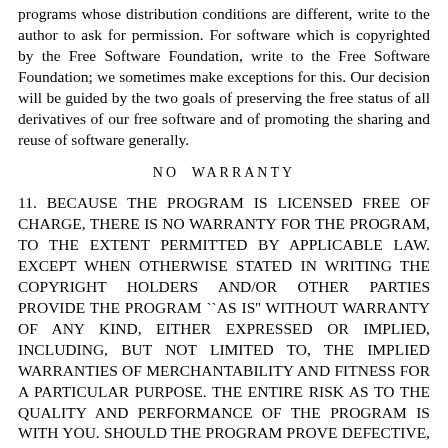programs whose distribution conditions are different, write to the author to ask for permission. For software which is copyrighted by the Free Software Foundation, write to the Free Software Foundation; we sometimes make exceptions for this. Our decision will be guided by the two goals of preserving the free status of all derivatives of our free software and of promoting the sharing and reuse of software generally.
NO  WARRANTY
11. BECAUSE THE PROGRAM IS LICENSED FREE OF CHARGE, THERE IS NO WARRANTY FOR THE PROGRAM, TO THE EXTENT PERMITTED BY APPLICABLE LAW. EXCEPT WHEN OTHERWISE STATED IN WRITING THE COPYRIGHT HOLDERS AND/OR OTHER PARTIES PROVIDE THE PROGRAM ``AS IS'' WITHOUT WARRANTY OF ANY KIND, EITHER EXPRESSED OR IMPLIED, INCLUDING, BUT NOT LIMITED TO, THE IMPLIED WARRANTIES OF MERCHANTABILITY AND FITNESS FOR A PARTICULAR PURPOSE. THE ENTIRE RISK AS TO THE QUALITY AND PERFORMANCE OF THE PROGRAM IS WITH YOU. SHOULD THE PROGRAM PROVE DEFECTIVE, YOU ASSUME THE COST OF ALL NECESSARY SERVICING, REPAIR OR CORRECTION.
12. IN NO EVENT UNLESS REQUIRED BY APPLICABLE